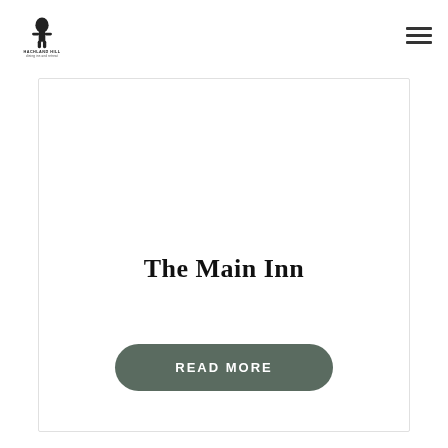[Figure (logo): Hachland Hill dining inn and retreat logo with silhouette of a person under a tree and text 'HACHLAND HILL / dining inn and retreat']
The Main Inn
READ MORE